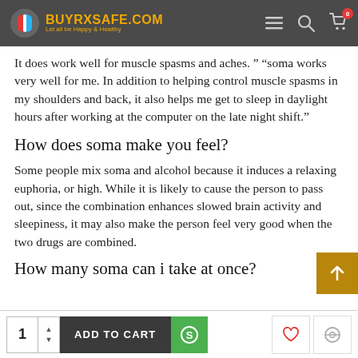BUYRXSAFE.COM — Let all be Happy & Healthy
It does work well for muscle spasms and aches. “ “soma works very well for me. In addition to helping control muscle spasms in my shoulders and back, it also helps me get to sleep in daylight hours after working at the computer on the late night shift.”
How does soma make you feel?
Some people mix soma and alcohol because it induces a relaxing euphoria, or high. While it is likely to cause the person to pass out, since the combination enhances slowed brain activity and sleepiness, it may also make the person feel very good when the two drugs are combined.
How many soma can i take at once?
1  ADD TO CART